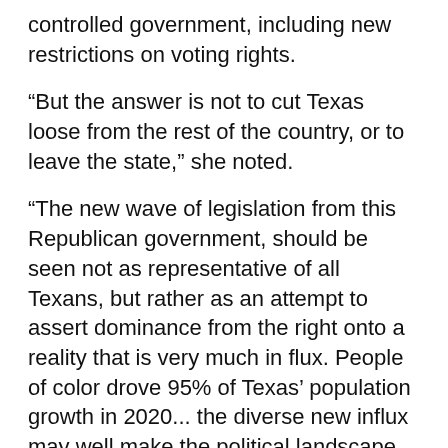controlled government, including new restrictions on voting rights.
“But the answer is not to cut Texas loose from the rest of the country, or to leave the state,” she noted.
“The new wave of legislation from this Republican government, should be seen not as representative of all Texans, but rather as an attempt to assert dominance from the right onto a reality that is very much in flux. People of color drove 95% of Texas’ population growth in 2020... the diverse new influx may well make the political landscape more fluid than it has been in nearly two decades...
“We have a fast-growing economy, diverse and energetic populations, wonderful cities, world-class universities, good food and the live music capital of the world. We even play some football. If you want to